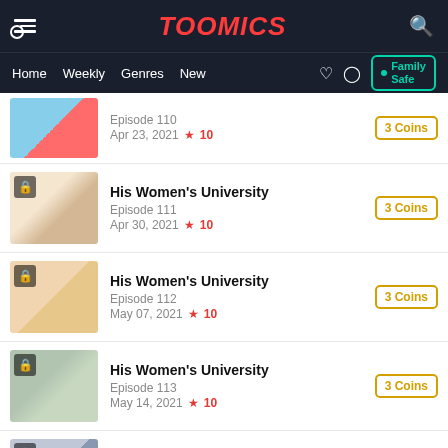TOOMICS
His Women's University — Episode 110 — Apr 23, 2021 ★ 10 — 3 Coins
His Women's University — Episode 111 — Apr 30, 2021 ★ 10 — 3 Coins
His Women's University — Episode 112 — May 07, 2021 ★ 10 — 3 Coins
His Women's University — Episode 113 — May 14, 2021 ★ 10 — 3 Coins
His Women's University — Episode 114 — May 21, 2021 ★ 9.4 — 3 Coins